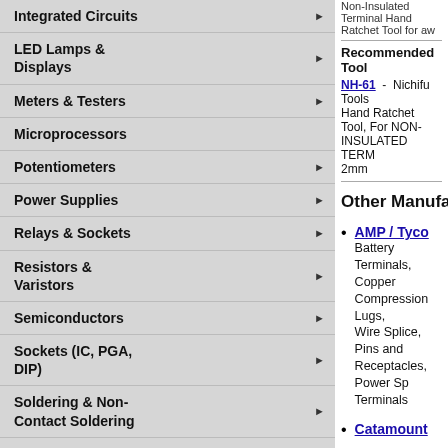Integrated Circuits
LED Lamps & Displays
Meters & Testers
Microprocessors
Potentiometers
Power Supplies
Relays & Sockets
Resistors & Varistors
Semiconductors
Sockets (IC, PGA, DIP)
Soldering & Non-Contact Soldering
Solderless Terminals
Surge Protectors & UPS
Switches
Terminal Blocks
Non-Insulated Terminal Hand Ratchet Tool for aw
Recommended Tool
NH-61 - Nichifu Tools
Hand Ratchet Tool, For NON-INSULATED TERM...
2mm
Other Manufacturers / Suppliers that c
AMP / Tyco
Battery Terminals, Copper Compression Lugs,
Wire Splice, Pins and Receptacles, Power Sp...
Terminals
Catamount
Molex/ETC
Ring Terminals, Flanged Spade Terminals, Blo...
Snap Plug & Receptacle, 3-Way Connector Te...
Quick Disconnect Terminals
Molex/ETC
Ring Terminals, Flanged Spade Terminals, Blo...
Snap Plug & Receptacle, 3-Way Connector Te...
Quick Disconnect Terminals
Nichifu
Ring Terminals, Spade Terminals, Flanged Sp...